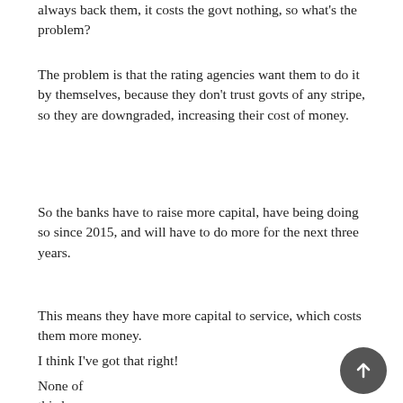always back them, it costs the govt nothing, so what's the problem?
The problem is that the rating agencies want them to do it by themselves, because they don't trust govts of any stripe, so they are downgraded, increasing their cost of money.
So the banks have to raise more capital, have being doing so since 2015, and will have to do more for the next three years.
This means they have more capital to service, which costs them more money.
I think I've got that right!
None of this has anything to do with the bad beha… we have been hearing about at the royal commission…